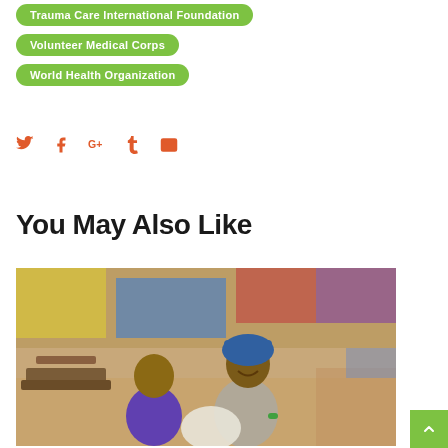Trauma Care International Foundation
Volunteer Medical Corps
World Health Organization
[Figure (infographic): Social share icons: Twitter, Facebook, Google+, Tumblr, Email — all in orange/red color]
You May Also Like
[Figure (photo): A young boy in purple shirt and a smiling woman with a blue head wrap sitting outdoors in what appears to be a market or informal settlement setting, holding a white bag]